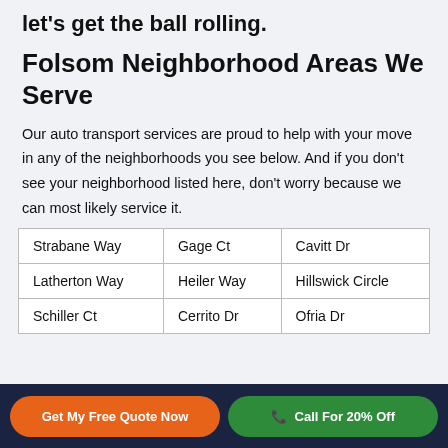let's get the ball rolling.
Folsom Neighborhood Areas We Serve
Our auto transport services are proud to help with your move in any of the neighborhoods you see below. And if you don't see your neighborhood listed here, don't worry because we can most likely service it.
| Strabane Way | Gage Ct | Cavitt Dr |
| Latherton Way | Heiler Way | Hillswick Circle |
| Schiller Ct | Cerrito Dr | Ofria Dr |
Get My Free Quote Now  |  Call For 20% Off